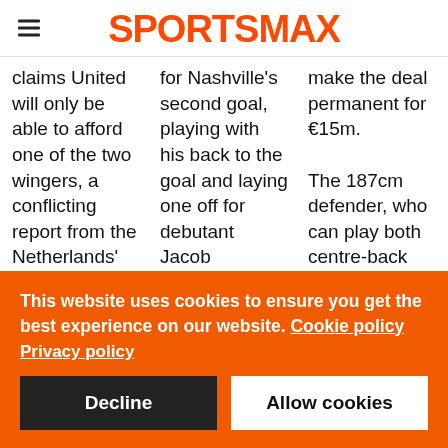SPORTSMAX
claims United will only be able to afford one of the two wingers, a conflicting report from the Netherlands' De Telegraaf says that might not be the
for Nashville's second goal, playing with his back to the goal and laying one off for debutant Jacob Shaffelburg in the 22nd minute to make a productive
make the deal permanent for €15m. The 187cm defender, who can play both centre-back and right-back, has accumulated 70
This website uses cookies to ensure you get the best experience on our website. Cookie policy Privacy policy
Decline
Allow cookies